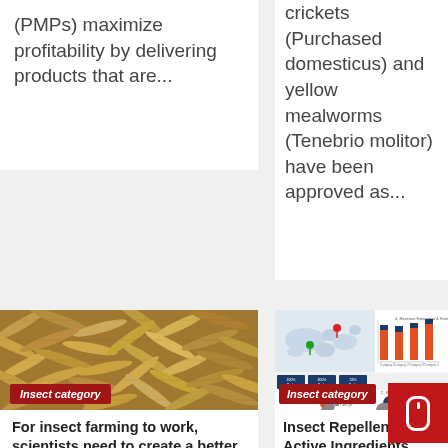(PMPs) maximize profitability by delivering products that are...
crickets (Purchased domesticus) and yellow mealworms (Tenebrio molitor) have been approved as...
[Figure (photo): Close-up photograph of yellow mealworms (Tenebrio molitor larvae) packed tightly together]
Insect category
For insect farming to work, scientists need to create a better insect
[Figure (infographic): Market research report thumbnail showing world map with pins, bar charts, pie charts, and market share percentages]
Insect category
Insect Repellent Active Ingredients Market 2022 with Major Countries Data and